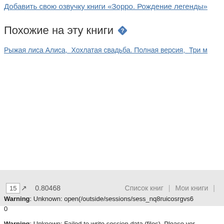Добавить свою озвучку книги «Зорро. Рождение легенды»
Похожие на эту книги
Рыжая лиса Алиса, Хохлатая свадьба. Полная версия, Три м
15  ↗  0.80468    Список книг  |  Мои книги  |
Warning: Unknown: open(/outside/sessions/sess_nq8ruicosrgvs6... 0
Warning: Unknown: Failed to write session data (files). Please ver... in Unknown on line 0